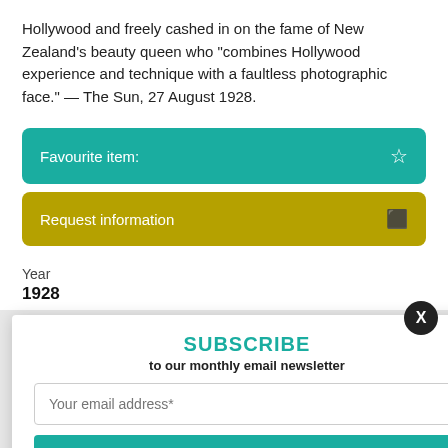Hollywood and freely cashed in on the fame of New Zealand's beauty queen who "combines Hollywood experience and technique with a faultless photographic face." — The Sun, 27 August 1928.
Favourite item:
Request information
Year
1928
Reference number
F10028
Collection
FILM AND VIDEO COLLECTION
SUBSCRIBE
to our monthly email newsletter
Your email address*
SUBSCRIBE
View previous newsletters.
how you use our site, and make your experience
cy policy.
e rapu māramatanga ki te āhua o tō whakamahi i tō whai wāhi mai. Ki te rapu kōrero anō